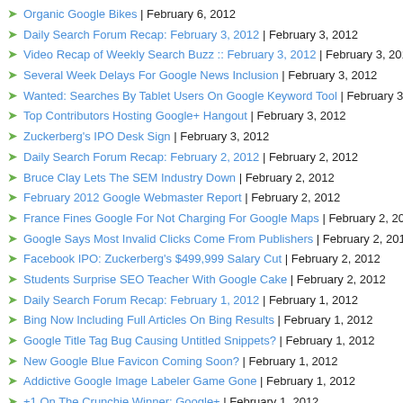Organic Google Bikes | February 6, 2012
Daily Search Forum Recap: February 3, 2012 | February 3, 2012
Video Recap of Weekly Search Buzz :: February 3, 2012 | February 3, 2012
Several Week Delays For Google News Inclusion | February 3, 2012
Wanted: Searches By Tablet Users On Google Keyword Tool | February 3, 2012
Top Contributors Hosting Google+ Hangout | February 3, 2012
Zuckerberg's IPO Desk Sign | February 3, 2012
Daily Search Forum Recap: February 2, 2012 | February 2, 2012
Bruce Clay Lets The SEM Industry Down | February 2, 2012
February 2012 Google Webmaster Report | February 2, 2012
France Fines Google For Not Charging For Google Maps | February 2, 2012
Google Says Most Invalid Clicks Come From Publishers | February 2, 2012
Facebook IPO: Zuckerberg's $499,999 Salary Cut | February 2, 2012
Students Surprise SEO Teacher With Google Cake | February 2, 2012
Daily Search Forum Recap: February 1, 2012 | February 1, 2012
Bing Now Including Full Articles On Bing Results | February 1, 2012
Google Title Tag Bug Causing Untitled Snippets? | February 1, 2012
New Google Blue Favicon Coming Soon? | February 1, 2012
Addictive Google Image Labeler Game Gone | February 1, 2012
+1 On The Crunchie Winner: Google+ | February 1, 2012